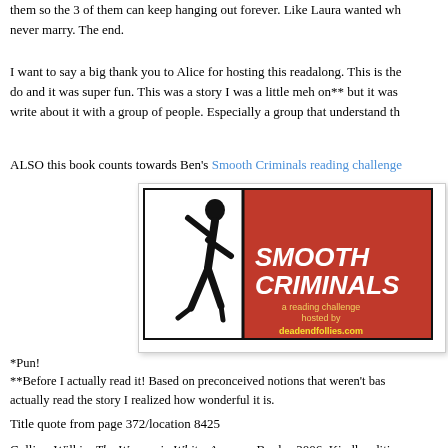them so the 3 of them can keep hanging out forever. Like Laura wanted wh never marry. The end.
I want to say a big thank you to Alice for hosting this readalong. This is the do and it was super fun. This was a story I was a little meh on** but it was write about it with a group of people. Especially a group that understand th
ALSO this book counts towards Ben's Smooth Criminals reading challenge
[Figure (illustration): Smooth Criminals reading challenge badge: red and white graphic with silhouette of dancing figure and text 'SMOOTH CRIMINALS a reading challenge hosted by deadendfollies.com']
*Pun!
**Before I actually read it! Based on preconceived notions that weren't bas actually read the story I realized how wonderful it is.
Title quote from page 372/location 8425
Collins, Wilkie. The Woman in White. Amazon Books, 2006. Kindle edition